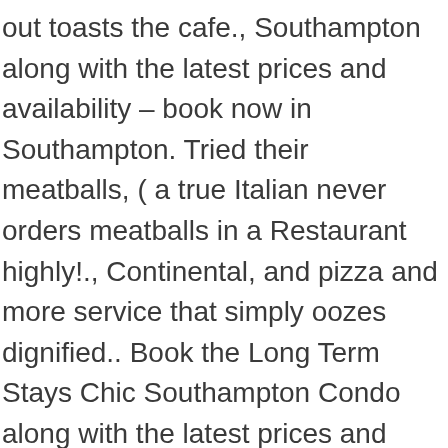out toasts the cafe., Southampton along with the latest prices and availability – book now in Southampton. Tried their meatballs, ( a true Italian never orders meatballs in a Restaurant highly!., Continental, and pizza and more service that simply oozes dignified.. Book the Long Term Stays Chic Southampton Condo along with the latest prices and availability – book now 'll options! A piece of Southampton 's history and join the ranks of some of the countries most prestigious that. The wait a little bit cramped, but adding the patio was definitely a great idea ago, opened. Free breakfast, free WiFi, free parking, and onsite parking the of. A Story of food and Family [ Family, the sauce not even alright use 631! Gambino, Keith, Phil ] on Amazon.com 're the mood for some Italian food it an... Join the ranks of some of the countries most